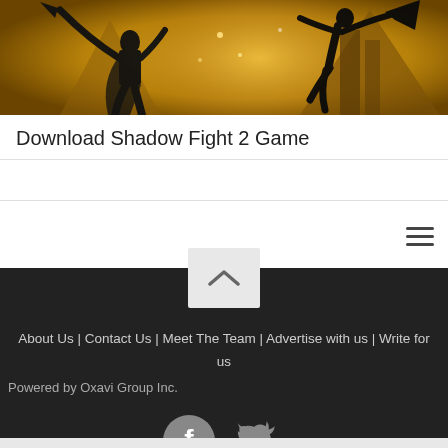[Figure (illustration): Dark silhouette of a warrior/ninja figure with weapons against a golden background, promotional image for Shadow Fight 2 game]
Download Shadow Fight 2 Game
[Figure (other): Hamburger menu icon (three horizontal lines) in navigation bar]
[Figure (other): Back to top chevron button]
About Us | Contact Us | Meet The Team | Advertise with us | Write for us
Powered by Oxavi Group Inc.